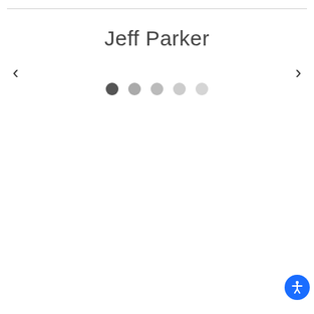Jeff Parker
[Figure (other): Carousel navigation interface with left arrow, right arrow, five pagination dots (first dot active/dark, remaining four lighter), and an accessibility button in the bottom right corner.]